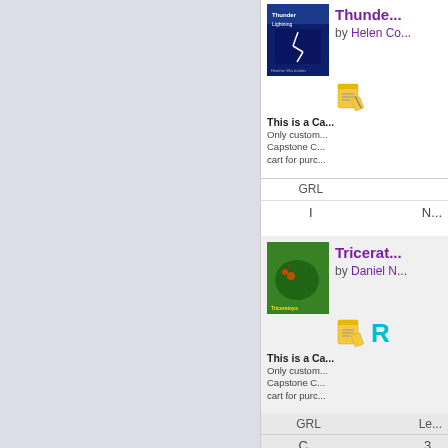[Figure (other): Left navigation/sidebar panel with lavender/purple-gray background]
[Figure (illustration): Book cover: Thunder and Lightning - dark blue stormy sky cover]
Thunder...
by Helen Co...
[Figure (other): Note-taking icon (yellow notepad with pencil)]
This is a Ca...
Only custom... Capstone C... cart for purc...
| GRL |  |
| --- | --- |
| I | N... |
[Figure (illustration): Book cover: Triceratops - green dinosaur themed cover with Triceratops label]
Tricerat...
by Daniel N...
[Figure (other): Note-taking icon and R reading level icon]
This is a Ca...
Only custom... Capstone C... cart for purc...
| GRL | Le... |
| --- | --- |
| C... | 3... |